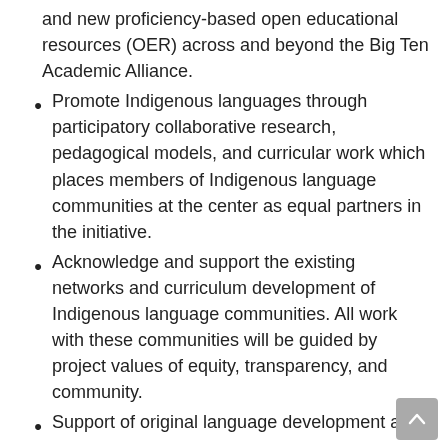and new proficiency-based open educational resources (OER) across and beyond the Big Ten Academic Alliance.
Promote Indigenous languages through participatory collaborative research, pedagogical models, and curricular work which places members of Indigenous language communities at the center as equal partners in the initiative.
Acknowledge and support the existing networks and curriculum development of Indigenous language communities. All work with these communities will be guided by project values of equity, transparency, and community.
Support of original language development and…